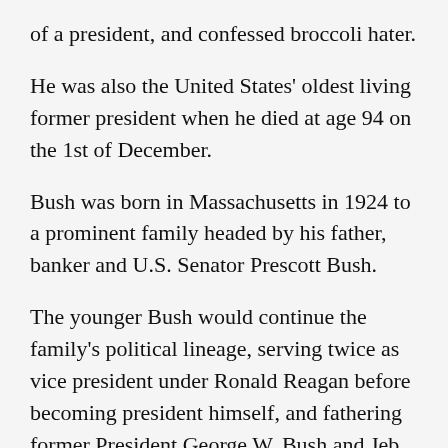of a president, and confessed broccoli hater.
He was also the United States' oldest living former president when he died at age 94 on the 1st of December.
Bush was born in Massachusetts in 1924 to a prominent family headed by his father, banker and U.S. Senator Prescott Bush.
The younger Bush would continue the family's political lineage, serving twice as vice president under Ronald Reagan before becoming president himself, and fathering former President George W. Bush and Jeb Bush, a two-term Florida governor who unsuccessfully ran to be the Republican Party's candidate for president in 2016.